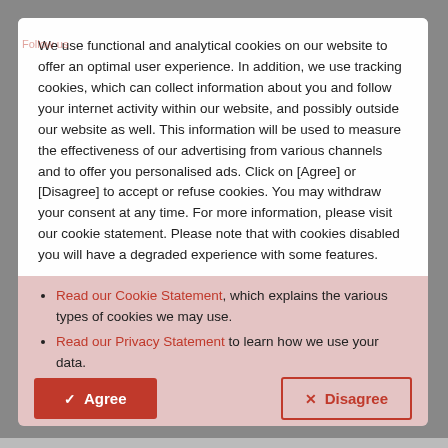We use functional and analytical cookies on our website to offer an optimal user experience. In addition, we use tracking cookies, which can collect information about you and follow your internet activity within our website, and possibly outside our website as well. This information will be used to measure the effectiveness of our advertising from various channels and to offer you personalised ads. Click on [Agree] or [Disagree] to accept or refuse cookies. You may withdraw your consent at any time. For more information, please visit our cookie statement. Please note that with cookies disabled you will have a degraded experience with some features.
Read our Cookie Statement, which explains the various types of cookies we may use.
Read our Privacy Statement to learn how we use your data.